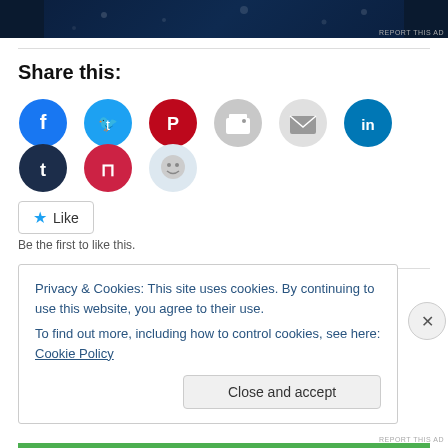[Figure (screenshot): Partial dark-themed banner/ad image with dot patterns, cropped at top. 'REPORT THIS AD' label at bottom right.]
Share this:
[Figure (infographic): Row of social media sharing icon circles: Facebook (blue), Twitter (cyan), Pinterest (red), Print (gray), Email (light gray), LinkedIn (teal), Tumblr (dark navy), Pocket (red), Reddit (light blue)]
Like
Be the first to like this.
Related
Privacy & Cookies: This site uses cookies. By continuing to use this website, you agree to their use.
To find out more, including how to control cookies, see here: Cookie Policy
Close and accept